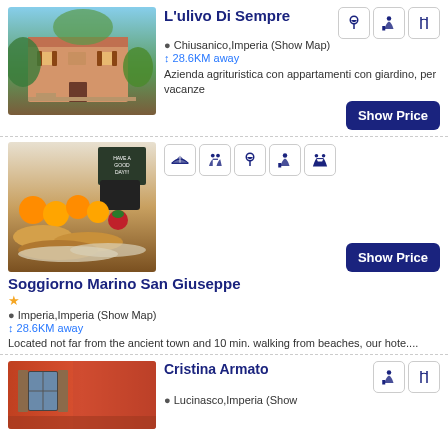[Figure (photo): Exterior of L'ulivo Di Sempre agriturismo with stairs and plants]
L'ulivo Di Sempre
Chiusanico,Imperia (Show Map)
28.6KM away
Azienda agrituristica con appartamenti con giardino, per vacanze
[Figure (photo): Breakfast spread with fruits, pastries, jams and a chalkboard sign]
Soggiorno Marino San Giuseppe
★
Imperia,Imperia (Show Map)
28.6KM away
Located not far from the ancient town and 10 min. walking from beaches, our hote....
[Figure (photo): Red building exterior - Cristina Armato]
Cristina Armato
Lucinasco,Imperia (Show